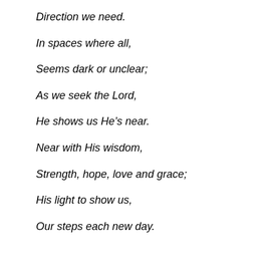Direction we need.
In spaces where all,
Seems dark or unclear;
As we seek the Lord,
He shows us He’s near.
Near with His wisdom,
Strength, hope, love and grace;
His light to show us,
Our steps each new day.